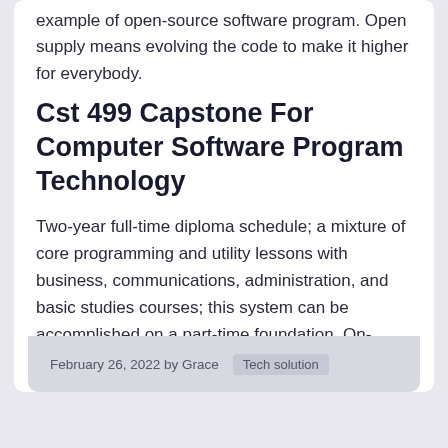example of open-source software program. Open supply means evolving the code to make it higher for everybody.
Cst 499 Capstone For Computer Software Program Technology
Two-year full-time diploma schedule; a mixture of core programming and utility lessons with business, communications, administration, and basic studies courses; this system can be accomplished on a part-time foundation. On-premise software program is applied throughout the physical confines of an … Read more
February 26, 2022 by Grace   Tech solution